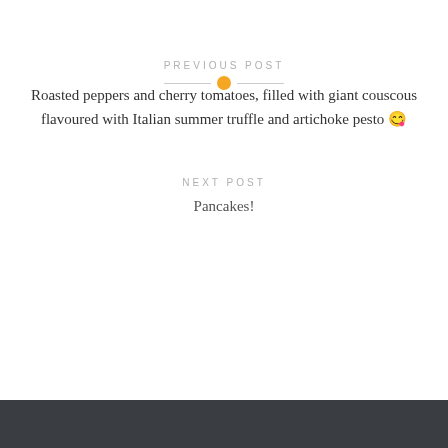[Figure (other): Horizontal divider line with orange circle in the center]
PREVIOUS POST
Roasted peppers and cherry tomatoes, filled with giant couscous flavoured with Italian summer truffle and artichoke pesto 😊
NEXT POST
Pancakes!
Lemon Bowl